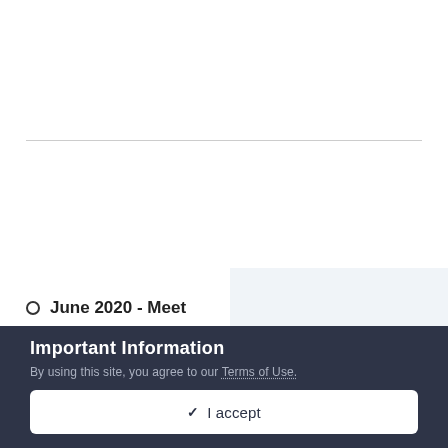June 2020 - Meet
Important Information
By using this site, you agree to our Terms of Use.
✓ I accept